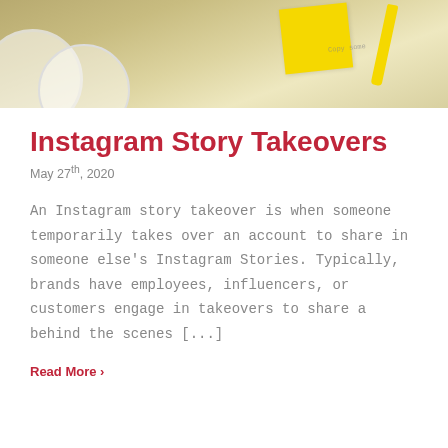[Figure (photo): Photo of a desk with yellow sticky notes, a yellow pen/highlighter, and white circular plates or dishes on a patterned background]
Instagram Story Takeovers
May 27th, 2020
An Instagram story takeover is when someone temporarily takes over an account to share in someone else's Instagram Stories. Typically, brands have employees, influencers, or customers engage in takeovers to share a behind the scenes [...]
Read More >